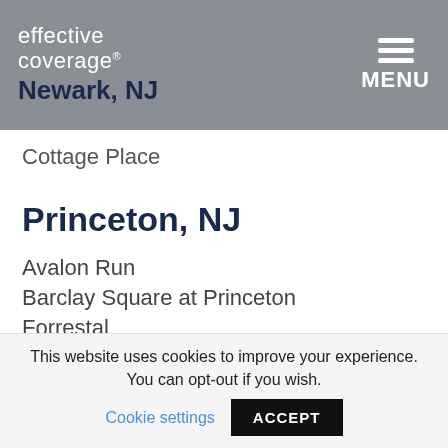effective coverage Newark, NJ — MENU
Cottage Place
Princeton, NJ
Avalon Run
Barclay Square at Princeton
Forrestal
Kingston Terrace
TheMont at Princeton (partial, cut off)
This website uses cookies to improve your experience. You can opt-out if you wish. Cookie settings ACCEPT